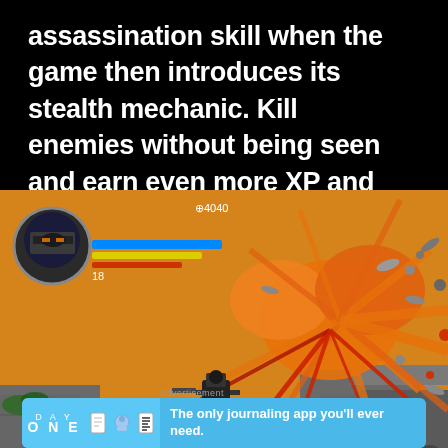assassination skill when the game then introduces its stealth mechanic. Kill enemies without being seen and earn even more XP and we know what more XP leads to... More skills.
[Figure (screenshot): Mobile game screenshot showing a ninja character on the left with health/XP bars, and a large orange explosion/splatter effect on the right side of a platform-style level. The scene shows combat with blood effects and debris flying outward.]
Advertisement
[Figure (screenshot): Day One journaling app advertisement banner with blue background. Shows 'DAY ONE' text on left with small app icon illustrations, and 'The only journaling app you'll ever need.' text on right.]